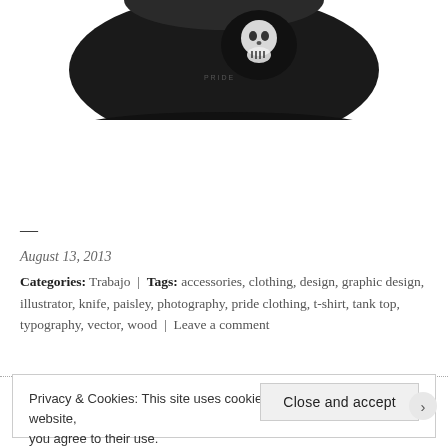[Figure (photo): Bottom portion of a black hat/cap with a graphic design visible on it, shown against a white background]
—
August 13, 2013
Categories: Trabajo | Tags: accessories, clothing, design, graphic design, illustrator, knife, paisley, photography, pride clothing, t-shirt, tank top, typography, vector, wood | Leave a comment
Privacy & Cookies: This site uses cookies. By continuing to use this website, you agree to their use.
To find out more, including how to control cookies, see here: Cookie Policy
Close and accept